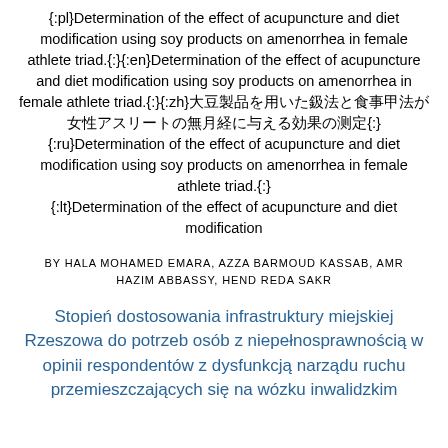{:pl}Determination of the effect of acupuncture and diet modification using soy products on amenorrhea in female athlete triad.{:}{:en}Determination of the effect of acupuncture and diet modification using soy products on amenorrhea in female athlete triad.{:}{:zh}大豆製品を用いた鍼治療と食事療法が女性アスリートの無月経に与える効果の検討{:}{:ru}Determination of the effect of acupuncture and diet modification using soy products on amenorrhea in female athlete triad.{:} {:lt}Determination of the effect of acupuncture and diet modification
BY HALA MOHAMED EMARA, AZZA BARMOUD KASSAB, AMR HAZIM ABBASSY, HEND REDA SAKR
Stopień dostosowania infrastruktury miejskiej Rzeszowa do potrzeb osób z niepełnosprawnością w opinii respondentów z dysfunkcją narządu ruchu przemieszczających się na wózku inwalidzkim